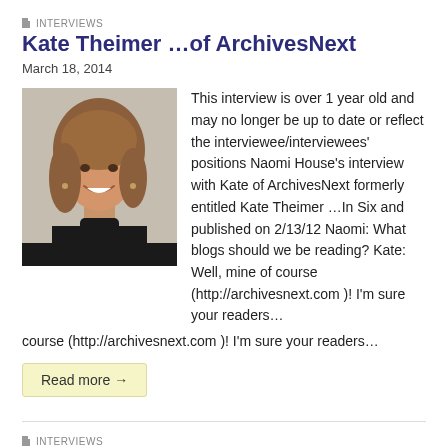INTERVIEWS
Kate Theimer …of ArchivesNext
March 18, 2014
[Figure (photo): Portrait photo of Kate Theimer, a woman with reddish-brown hair wearing a black turtleneck sweater, smiling.]
This interview is over 1 year old and may no longer be up to date or reflect the interviewee/interviewees' positions Naomi House's interview with Kate of ArchivesNext formerly entitled Kate Theimer …In Six and published on 2/13/12 Naomi: What blogs should we be reading? Kate: Well, mine of course (http://archivesnext.com )! I'm sure your readers…
Read more →
INTERVIEWS
Dan Robinson, on being a Content Analyst